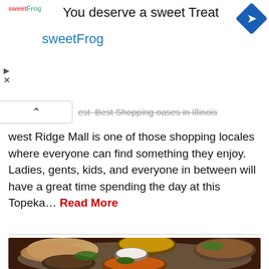[Figure (infographic): SweetFrog advertisement banner with logo, title 'You deserve a sweet Treat', blue navigation diamond icon, and controls]
west Ridge Mall is one of those shopping locales where everyone can find something they enjoy. Ladies, gents, kids, and everyone in between will have a great time spending the day at this Topeka... Read More
[Figure (photo): Indian food spread on a large metal thali platter showing multiple dishes including naan bread, various curries, and a raita/dipping sauce]